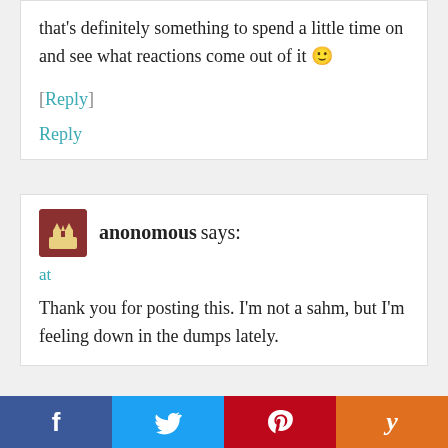that's definitely something to spend a little time on and see what reactions come out of it 🙂
[Reply]
Reply
anonomous says:
at
Thank you for posting this. I'm not a sahm, but I'm feeling down in the dumps lately.
[Figure (other): Social share bar with Facebook, Twitter, Pinterest, and Yummly buttons]